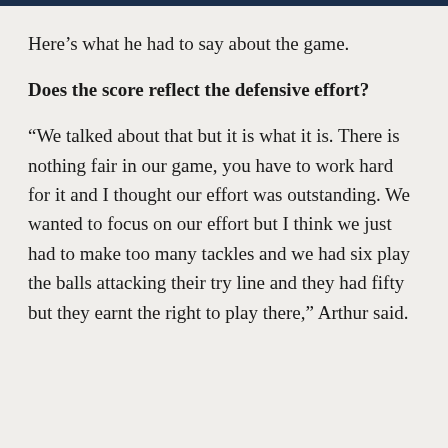Here’s what he had to say about the game.
Does the score reflect the defensive effort?
“We talked about that but it is what it is. There is nothing fair in our game, you have to work hard for it and I thought our effort was outstanding. We wanted to focus on our effort but I think we just had to make too many tackles and we had six play the balls attacking their try line and they had fifty but they earnt the right to play there,” Arthur said.